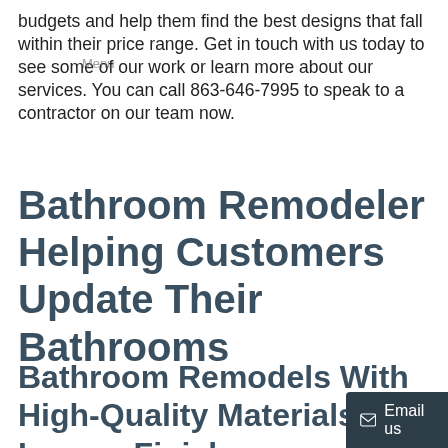budgets and help them find the best designs that fall within their price range. Get in touch with us today to see some of our work or learn more about our services. You can call 863-646-7995 to speak to a contractor on our team now.
Bathroom Remodeler Helping Customers Update Their Bathrooms
Bathroom Remodels With High-Quality Materials and Luxury Finishes
Email us